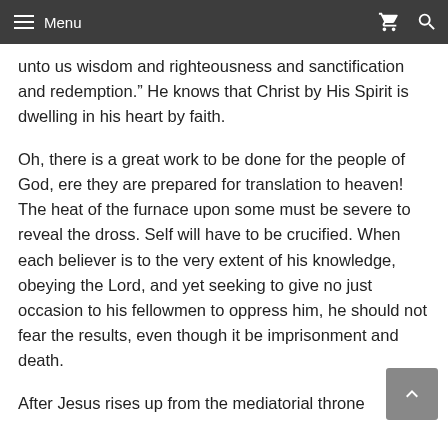Menu
unto us wisdom and righteousness and sanctification and redemption.” He knows that Christ by His Spirit is dwelling in his heart by faith.
Oh, there is a great work to be done for the people of God, ere they are prepared for translation to heaven! The heat of the furnace upon some must be severe to reveal the dross. Self will have to be crucified. When each believer is to the very extent of his knowledge, obeying the Lord, and yet seeking to give no just occasion to his fellowmen to oppress him, he should not fear the results, even though it be imprisonment and death.
After Jesus rises up from the mediatorial throne